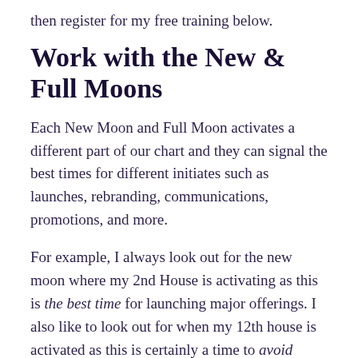then register for my free training below.
Work with the New & Full Moons
Each New Moon and Full Moon activates a different part of our chart and they can signal the best times for different initiates such as launches, rebranding, communications, promotions, and more.
For example, I always look out for the new moon where my 2nd House is activating as this is the best time for launching major offerings. I also like to look out for when my 12th house is activated as this is certainly a time to avoid launching anything.
It’s also great to see if any new moons are activating